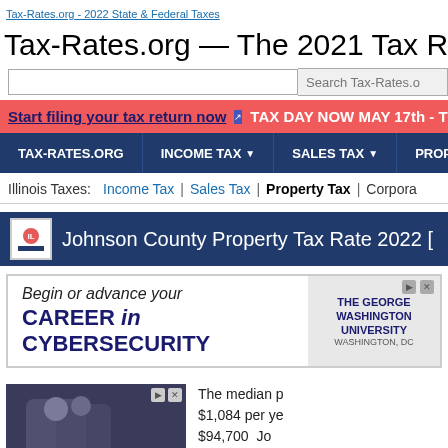Tax-Rates.org - 2022 State & Federal Taxes
Tax-Rates.org — The 2021 Tax Resource
Search Tax-Rates.o
Start filing your tax return now  TAX DAY NOW MAY 17th - Ther
TAX-RATES.ORG   INCOME TAX   SALES TAX   PROPERTY TA
Illinois Taxes:  Income Tax  |  Sales Tax  |  Property Tax  |  Corpora
Johnson County Property Tax Rate 2022 [
[Figure (screenshot): Advertisement banner: Begin or advance your CAREER in CYBERSECURITY - THE GEORGE WASHINGTON UNIVERSITY, WASHINGTON, DC]
[Figure (photo): Advertisement photo with two people]
The median p $1,084 per ye $94,700 Jo